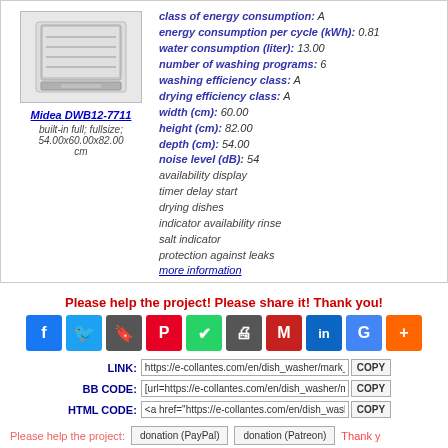[Figure (photo): Dishwasher product image - Midea DWB12-7711]
Midea DWB12-7711
built-in full; fullsize; 54.00x60.00x82.00 cm
class of energy consumption: A
energy consumption per cycle (kWh): 0.81
water consumption (liter): 13.00
number of washing programs: 6
washing efficiency class: A
drying efficiency class: A
width (cm): 60.00
height (cm): 82.00
depth (cm): 54.00
noise level (dB): 54
availability display
timer delay start
drying dishes
indicator availability rinse
salt indicator
protection against leaks
more information
Please help the project! Please share it! Thank you!
[Figure (infographic): Social share buttons: Facebook, Twitter, Bookmark, Pinterest, WhatsApp, Print, Gmail, LinkedIn, Google, Plus]
LINK: https://e-collantes.com/en/dish_washer/mark_41:
BB CODE: [url=https://e-collantes.com/en/dish_washer/mark
HTML CODE: <a href="https://e-collantes.com/en/dish_washer/
Please help the project: donation (PayPal)  donation (Patreon)  Thank y